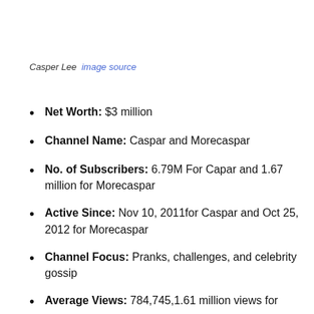Casper Lee  image source
Net Worth: $3 million
Channel Name: Caspar and Morecaspar
No. of Subscribers: 6.79M For Capar and 1.67 million for Morecaspar
Active Since: Nov 10, 2011for Caspar and Oct 25, 2012 for Morecaspar
Channel Focus: Pranks, challenges, and celebrity gossip
Average Views: 784,745,1.61 million views for...